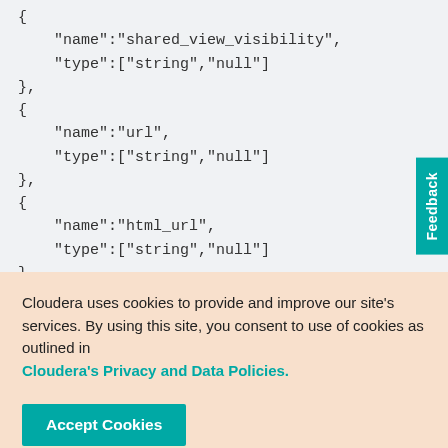{
    "name":"shared_view_visibility",
    "type":["string","null"]
},
{
    "name":"url",
    "type":["string","null"]
},
{
    "name":"html_url",
    "type":["string","null"]
}
Cloudera uses cookies to provide and improve our site's services. By using this site, you consent to use of cookies as outlined in Cloudera's Privacy and Data Policies.
Accept Cookies